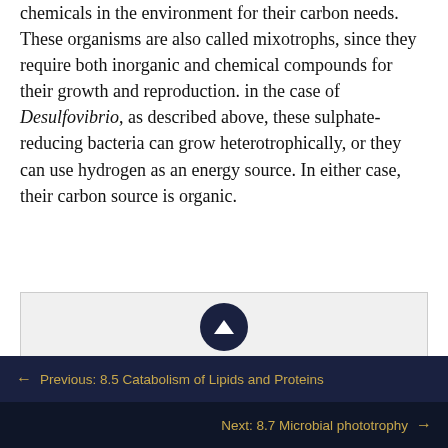and food materials, but relying on organic chemicals in the environment for their carbon needs. These organisms are also called mixotrophs, since they require both inorganic and chemical compounds for their growth and reproduction. in the case of Desulfovibrio, as described above, these sulphate-reducing bacteria can grow heterotrophically, or they can use hydrogen as an energy source. In either case, their carbon source is organic.
[Figure (other): A light grey box with a dark navy circular button containing an upward arrow, and partially visible text below reading 'Explain why most lithotrophs...']
← Previous: 8.5 Catabolism of Lipids and Proteins
Next: 8.7 Microbial phototrophy →